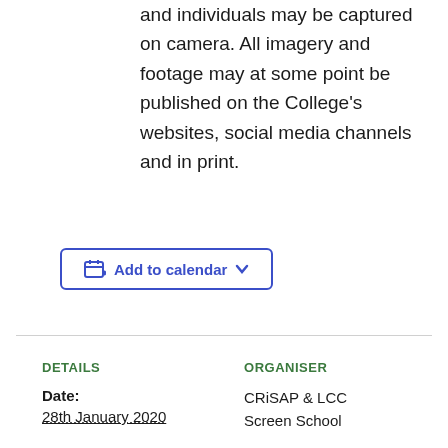and individuals may be captured on camera. All imagery and footage may at some point be published on the College's websites, social media channels and in print.
Add to calendar
DETAILS
ORGANISER
Date:
28th January 2020
CRiSAP & LCC Screen School